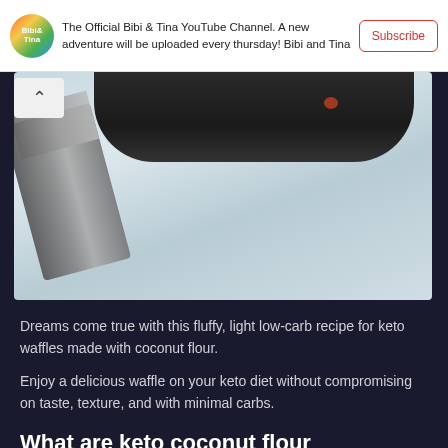[Figure (screenshot): YouTube channel banner for Bibi & Tina with logo, channel description text, and a Subscribe button]
[Figure (photo): Close-up photo of a waffle being cooked in a dark pan with a spatula on a white background]
Dreams come true with this fluffy, light low-carb recipe for keto waffles made with coconut flour.
Enjoy a delicious waffle on your keto diet without compromising on taste, texture, and with minimal carbs.
What are keto coconut flour waffles?